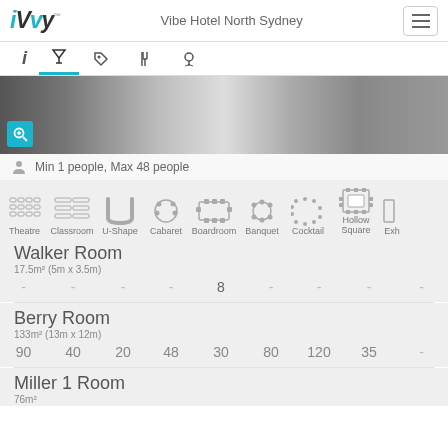iVvy - Vibe Hotel North Sydney
[Figure (photo): Partial view of a conference/meeting room showing table and textured floor]
Min 1 people, Max 48 people
[Figure (infographic): Room setup type icons: Theatre, Classroom, U-Shape, Cabaret, Boardroom, Banquet, Cocktail, Hollow Square, Exhibition]
Walker Room
17.5m² (5m x 3.5m)
| Theatre | Classroom | U-Shape | Cabaret | Boardroom | Banquet | Cocktail | Hollow Square | Exh |
| --- | --- | --- | --- | --- | --- | --- | --- | --- |
| - | - | - | - | 8 | - | - | - | - |
Berry Room
133m² (13m x 12m)
| Theatre | Classroom | U-Shape | Cabaret | Boardroom | Banquet | Cocktail | Hollow Square | Exh |
| --- | --- | --- | --- | --- | --- | --- | --- | --- |
| 90 | 40 | 20 | 48 | 30 | 80 | 120 | 35 | - |
Miller 1 Room
76m²